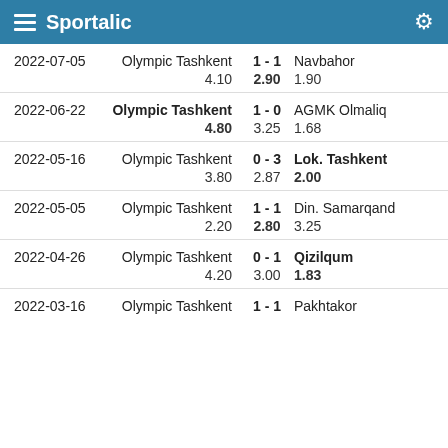Sportalic
| Date | Home | Score | Away | Odds Home | Odds Draw | Odds Away |
| --- | --- | --- | --- | --- | --- | --- |
| 2022-07-05 | Olympic Tashkent | 1 - 1 | Navbahor | 4.10 | 2.90 | 1.90 |
| 2022-06-22 | Olympic Tashkent | 1 - 0 | AGMK Olmaliq | 4.80 | 3.25 | 1.68 |
| 2022-05-16 | Olympic Tashkent | 0 - 3 | Lok. Tashkent | 3.80 | 2.87 | 2.00 |
| 2022-05-05 | Olympic Tashkent | 1 - 1 | Din. Samarqand | 2.20 | 2.80 | 3.25 |
| 2022-04-26 | Olympic Tashkent | 0 - 1 | Qizilqum | 4.20 | 3.00 | 1.83 |
| 2022-03-16 | Olympic Tashkent | 1 - 1 | Pakhtakor |  |  |  |